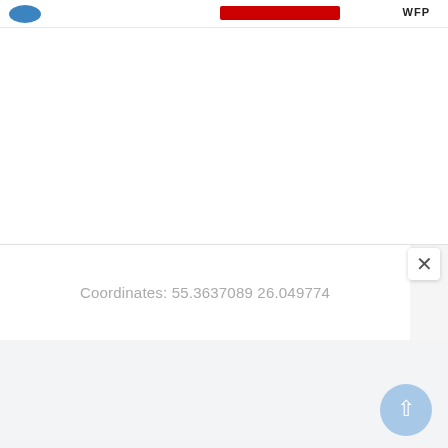[Figure (screenshot): WFP application screenshot showing a coordinate display panel. Top header bar with a blue logo on the left, a red bar in the center, and 'WFP' text on the right. White panel below with close button (X). Coordinates text reads '55.3637089 26.049774'. Bottom section has a light gray background with a light blue circular FAB button with an upward arrow.]
Coordinates: 55.3637089 26.049774